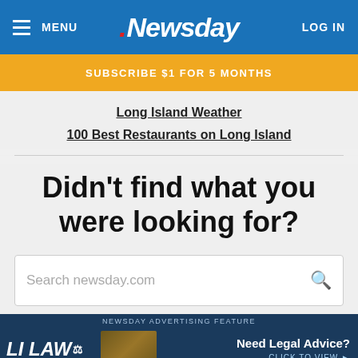MENU  Newsday  LOG IN
SUBSCRIBE $1 FOR 5 MONTHS
Long Island Weather
100 Best Restaurants on Long Island
Didn't find what you were looking for?
Search newsday.com
[Figure (screenshot): Newsday Advertising Feature - LI LAW - Need Legal Advice? Click to View]